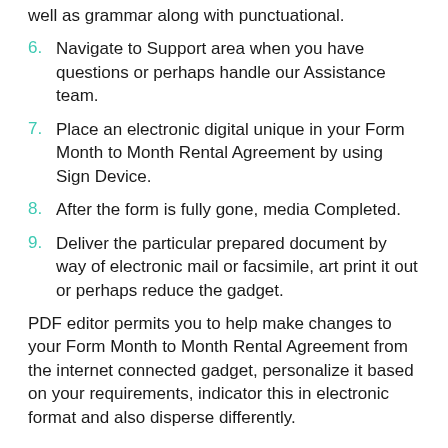well as grammar along with punctuational.
6. Navigate to Support area when you have questions or perhaps handle our Assistance team.
7. Place an electronic digital unique in your Form Month to Month Rental Agreement by using Sign Device.
8. After the form is fully gone, media Completed.
9. Deliver the particular prepared document by way of electronic mail or facsimile, art print it out or perhaps reduce the gadget.
PDF editor permits you to help make changes to your Form Month to Month Rental Agreement from the internet connected gadget, personalize it based on your requirements, indicator this in electronic format and also disperse differently.